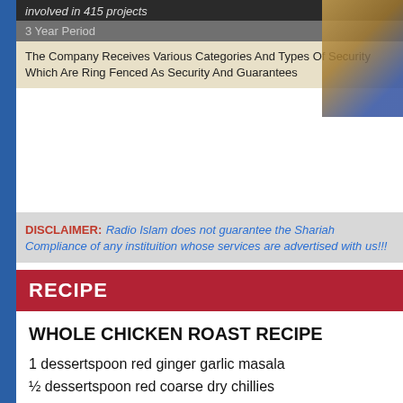involved in 415 projects
3 Year Period
The Company Receives Various Categories And Types Of Security Which Are Ring Fenced As Security And Guarantees
DISCLAIMER: Radio Islam does not guarantee the Shariah Compliance of any instituition whose services are advertised with us!!!
RECIPE
WHOLE CHICKEN ROAST RECIPE
1 dessertspoon red ginger garlic masala
½ dessertspoon red coarse dry chillies
1 tsp crushed garlic
1 dessertspoon fine dhania
1 tsp fine jeero
1 dessertspoon fine mustard
1 tsp arad
2 tsp fine salt